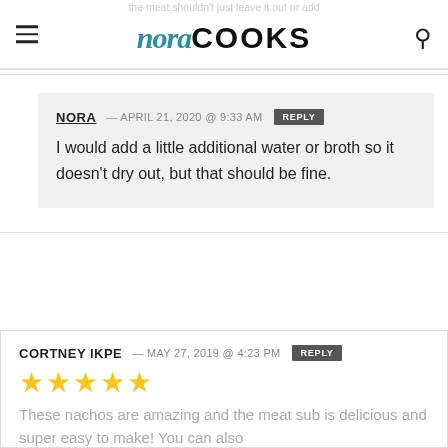nora COOKS
the meat shouldn't just leave it out or add additional
NORA — APRIL 21, 2020 @ 9:33 AM
REPLY

I would add a little additional water or broth so it doesn't dry out, but that should be fine.
CORTNEY IKPE — MAY 27, 2019 @ 4:23 PM REPLY
★★★★★
These nachos are amazing and the meat sub is delicious and super easy to make! You can also